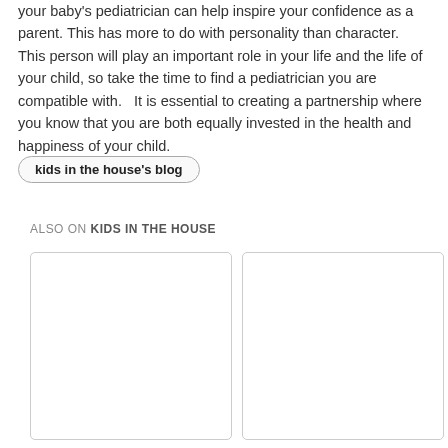your baby's pediatrician can help inspire your confidence as a parent. This has more to do with personality than character. This person will play an important role in your life and the life of your child, so take the time to find a pediatrician you are compatible with.   It is essential to creating a partnership where you know that you are both equally invested in the health and happiness of your child.
kids in the house's blog
ALSO ON KIDS IN THE HOUSE
[Figure (other): Left content card with left navigation arrow button]
[Figure (other): Right content card with right navigation arrow button]